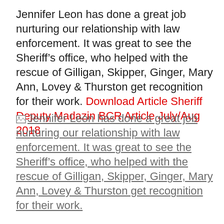Jennifer Leon has done a great job nurturing our relationship with law enforcement. It was great to see the Sheriff’s office, who helped with the rescue of Gilligan, Skipper, Ginger, Mary Ann, Lovey & Thurston get recognition for their work. Download Article Sheriff Deputy Madazin BCR Article July/Aug 2018
[Figure (other): Broken image link with alt text: Jennifer Leon has done a great job nurturing our relationship with law enforcement. It was great to see the Sheriff’s office, who helped with the rescue of Gilligan, Skipper, Ginger, Mary Ann, Lovey & Thurston get recognition for their work.]
Jennifer Leon has done a great job nurturing our relationship with law enforcement. It was great to see the Sheriff’s office, who helped with the rescue of Gilligan, Skipper, Ginger, Mary Ann, Lovey & Thurston get recognition for their work.